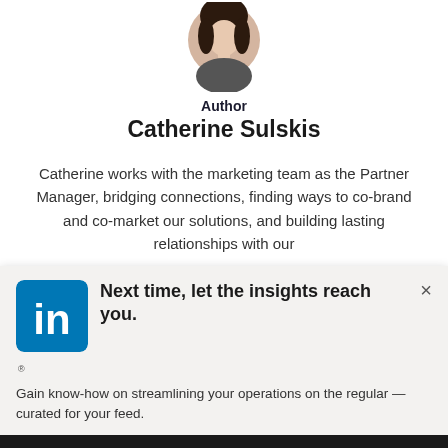[Figure (photo): Author headshot of Catherine Sulskis, a woman with dark hair, circular/rounded crop]
Author
Catherine Sulskis
Catherine works with the marketing team as the Partner Manager, bridging connections, finding ways to co-brand and co-market our solutions, and building lasting relationships with our
[Figure (screenshot): LinkedIn popup widget with LinkedIn logo (blue square with 'in'), headline 'Next time, let the insights reach you.', close X button, subtext 'Gain know-how on streamlining your operations on the regular — curated for your feed.', and a dark Follow button at the bottom]